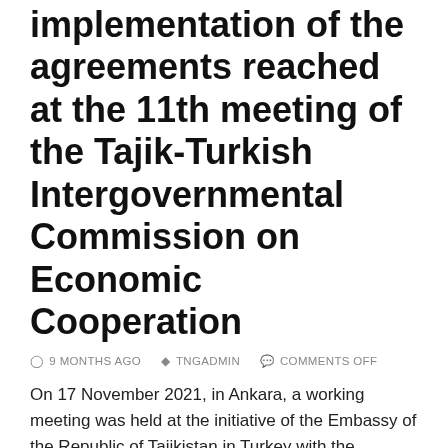implementation of the agreements reached at the 11th meeting of the Tajik-Turkish Intergovernmental Commission on Economic Cooperation
9 MONTHS AGO  TNGADMIN  COMMENTS OFF
On 17 November 2021, in Ankara, a working meeting was held at the initiative of the Embassy of the Republic of Tajikistan in Turkey with the participation of the Deputy Minister of Industry and New Technologies of the Republic of Tajikistan Solehzoda Umed and Deputy Minister of Industry and Technologies of Turkey Chetin Ali Donmez in order to implement the agreements reached at the 11th meeting of the Intergovernmental Commission between Tajikistan and Turkey on Economic Cooperation and the search for timely and